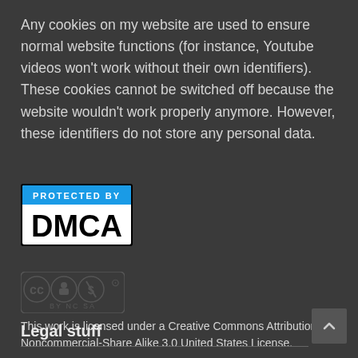Any cookies on my website are used to ensure normal website functions (for instance, Youtube videos won't work without their own identifiers). These cookies cannot be switched off because the website wouldn't work properly anymore. However, these identifiers do not store any personal data.
[Figure (logo): DMCA Protected badge — blue header bar with text 'PROTECTED BY' and large black text 'DMCA' on white background with black border]
[Figure (logo): Creative Commons license badge showing CC BY NC SA icons in a row]
This work is licensed under a Creative Commons Attribution-Noncommercial-Share Alike 3.0 United States License.
Legal stuff